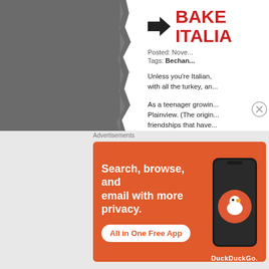[Figure (photo): Large dark gray food/recipe photo on the left side of the page, partially cropped with torn edge effect on the right side]
BAKE ITALIA...
Posted: Nove...
Tags: Bechan...
Unless you're Italian, with all the turkey, an...
As a teenager growin... Plainview. (The origin... friendships that have... clam sauce, the secr... ziti.
Advertisements
[Figure (screenshot): DuckDuckGo advertisement banner with orange background. Text: Search, browse, and email with more privacy. All in One Free App. Shows a phone with DuckDuckGo logo and DuckDuckGo. branding.]